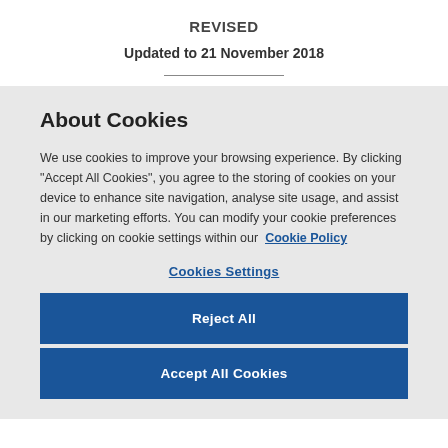REVISED
Updated to 21 November 2018
About Cookies
We use cookies to improve your browsing experience. By clicking “Accept All Cookies”, you agree to the storing of cookies on your device to enhance site navigation, analyse site usage, and assist in our marketing efforts. You can modify your cookie preferences by clicking on cookie settings within our Cookie Policy
Cookies Settings
Reject All
Accept All Cookies